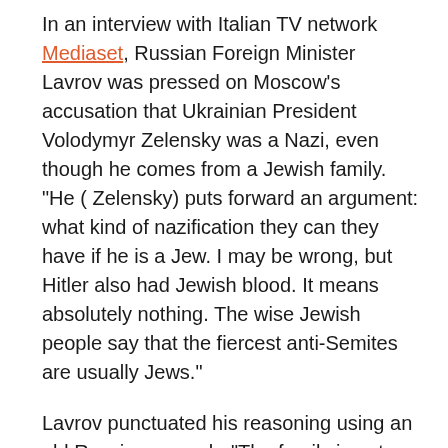In an interview with Italian TV network Mediaset, Russian Foreign Minister Lavrov was pressed on Moscow's accusation that Ukrainian President Volodymyr Zelensky was a Nazi, even though he comes from a Jewish family. "He ( Zelensky) puts forward an argument: what kind of nazification they can they have if he is a Jew. I may be wrong, but Hitler also had Jewish blood. It means absolutely nothing. The wise Jewish people say that the fiercest anti-Semites are usually Jews."
Lavrov punctuated his reasoning using an old Russian proverb: "The family is not without a freak."
Israeli Foreign Minister Yair Lapid quickly replied, saying Lavrov's words were "are both an unforgivable and outrageous statement as well as a terrible historical error. Jews did not murder themselves in the Holocaust. The